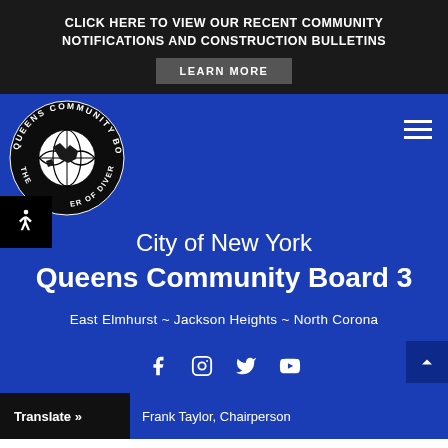CLICK HERE TO VIEW OUR RECENT COMMUNITY NOTIFICATIONS AND CONSTRUCTION BULLETINS
LEARN MORE
[Figure (logo): Queens Community Board 3 circular logo with globe and text 'Queens Community Board 3 The Center of Diversity']
City of New York
Queens Community Board 3
East Elmhurst ~ Jackson Heights ~ North Corona
[Figure (infographic): Social media icons: Facebook, Instagram, Twitter, YouTube]
Translate »
Frank Taylor, Chairperson